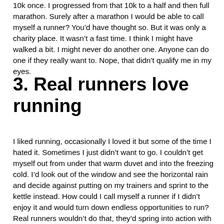10k once. I progressed from that 10k to a half and then full marathon. Surely after a marathon I would be able to call myself a runner? You'd have thought so. But it was only a charity place. It wasn't a fast time. I think I might have walked a bit. I might never do another one. Anyone can do one if they really want to. Nope, that didn't qualify me in my eyes.
3. Real runners love running
I liked running, occasionally I loved it but some of the time I hated it. Sometimes I just didn't want to go. I couldn't get myself out from under that warm duvet and into the freezing cold. I'd look out of the window and see the horizontal rain and decide against putting on my trainers and sprint to the kettle instead. How could I call myself a runner if I didn't enjoy it and would turn down endless opportunities to run? Real runners wouldn't do that, they'd spring into action with every chance they could grab to do the thing they loved surely?